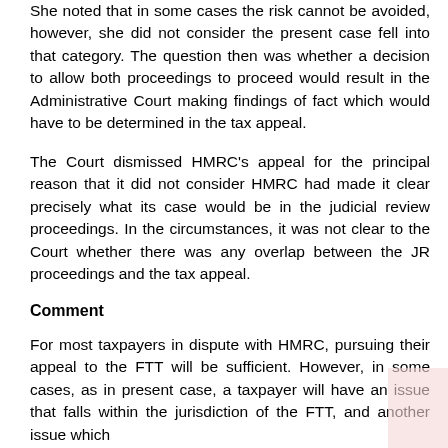She noted that in some cases the risk cannot be avoided, however, she did not consider the present case fell into that category. The question then was whether a decision to allow both proceedings to proceed would result in the Administrative Court making findings of fact which would have to be determined in the tax appeal.
The Court dismissed HMRC's appeal for the principal reason that it did not consider HMRC had made it clear precisely what its case would be in the judicial review proceedings. In the circumstances, it was not clear to the Court whether there was any overlap between the JR proceedings and the tax appeal.
Comment
For most taxpayers in dispute with HMRC, pursuing their appeal to the FTT will be sufficient. However, in some cases, as in present case, a taxpayer will have an issue that falls within the jurisdiction of the FTT, and another issue which